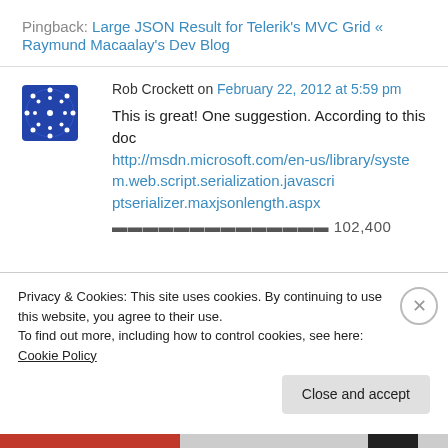Pingback: Large JSON Result for Telerik's MVC Grid « Raymund Macaalay's Dev Blog
Rob Crockett on February 22, 2012 at 5:59 pm
This is great! One suggestion. According to this doc http://msdn.microsoft.com/en-us/library/system.web.script.serialization.javascriptserializer.maxjsonlength.aspx
Privacy & Cookies: This site uses cookies. By continuing to use this website, you agree to their use. To find out more, including how to control cookies, see here: Cookie Policy
Close and accept